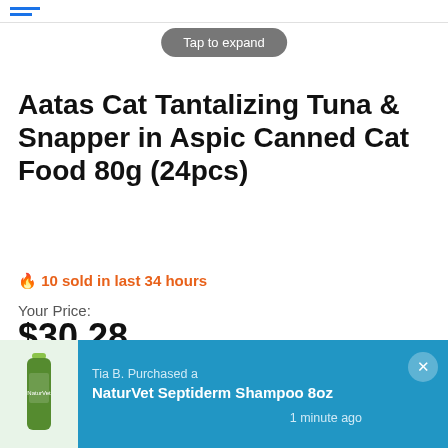[Figure (screenshot): Tap to expand button]
Aatas Cat Tantalizing Tuna & Snapper in Aspic Canned Cat Food 80g (24pcs)
🔥 10 sold in last 34 hours
Your Price:
$30.28
Quantity
[Figure (screenshot): Quantity selector with minus, 1, plus buttons and green ADD TO CART button]
GUARANTEED SAFE CHECKOUT
[Figure (screenshot): Notification popup: Tia B. Purchased a NaturVet Septiderm Shampoo 8oz - 1 minute ago]